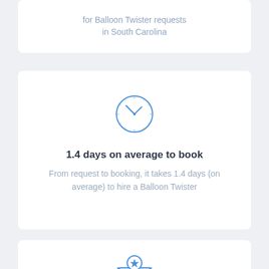for Balloon Twister requests in South Carolina
[Figure (illustration): Blue clock icon — a circle with clock hands showing approximately 10:10]
1.4 days on average to book
From request to booking, it takes 1.4 days (on average) to hire a Balloon Twister
[Figure (illustration): Blue envelope icon with a star badge on top — a request/booking envelope illustration]